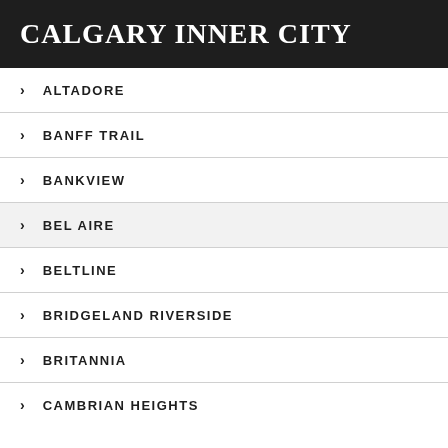CALGARY INNER CITY
ALTADORE
BANFF TRAIL
BANKVIEW
BEL AIRE
BELTLINE
BRIDGELAND RIVERSIDE
BRITANNIA
CAMBRIAN HEIGHTS